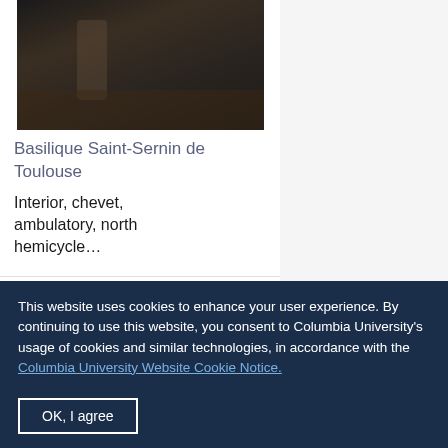[Figure (photo): Interior stone architectural detail of Basilique Saint-Sernin de Toulouse, dark stonework with columns and carved elements]
Basilique Saint-Sernin de Toulouse
Interior, chevet, ambulatory, north hemicycle…
[Figure (photo): Partial view of stone carved architectural detail from a church interior, with arched element visible]
This website uses cookies to enhance your user experience. By continuing to use this website, you consent to Columbia University's usage of cookies and similar technologies, in accordance with the Columbia University Website Cookie Notice.
OK, I agree